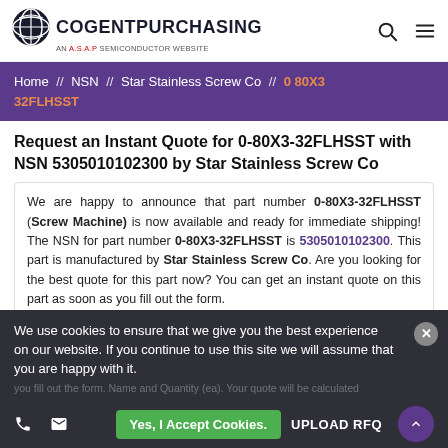[Figure (logo): CogentPurchasing logo — globe icon with 'COGENTPURCHASING' in bold, subtitle 'AN A.S.A.P SEMICONDUCTOR WEBSITE']
Home // NSN // Star Stainless Screw Co // 0 80X3 32FLHSST
Request an Instant Quote for 0-80X3-32FLHSST with NSN 5305010102300 by Star Stainless Screw Co
We are happy to announce that part number 0-80X3-32FLHSST (Screw Machine) is now available and ready for immediate shipping! The NSN for part number 0-80X3-32FLHSST is 5305010102300. This part is manufactured by Star Stainless Screw Co. Are you looking for the best quote for this part now? You can get an instant quote on this part as soon as you fill out the form.
We use cookies to ensure that we give you the best experience on our website. If you continue to use this site we will assume that you are happy with it.